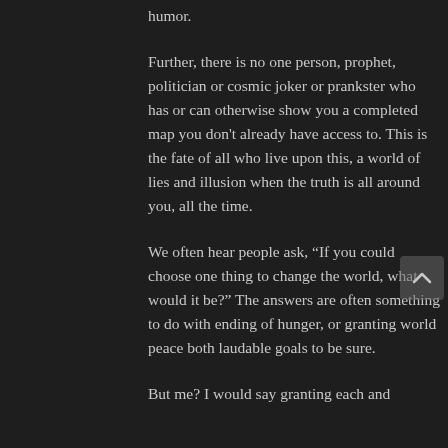humor.
Further, there is no one person, prophet, politician or cosmic joker or prankster who has or can otherwise show you a completed map you don't already have access to. This is the fate of all who live upon this, a world of lies and illusion when the truth is all around you, all the time.
We often hear people ask, “If you could choose one thing to change the world, what would it be?” The answers are often something to do with ending of hunger, or granting world peace both laudable goals to be sure.
But me? I would say granting each and